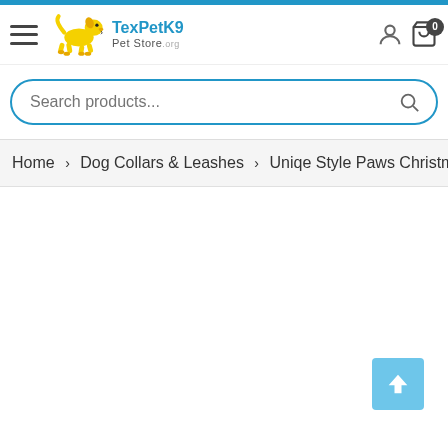[Figure (logo): TexPetK9 Pet Store logo with yellow cartoon dog and blue text]
Search products...
Home > Dog Collars & Leashes > Uniqe Style Paws Christmas G